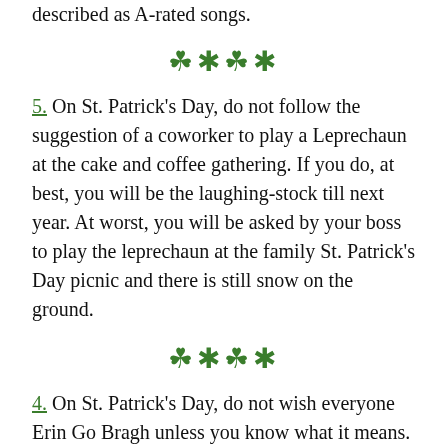described as A-rated songs.
[Figure (illustration): Four green shamrock/clover decorative divider symbols]
5. On St. Patrick's Day, do not follow the suggestion of a coworker to play a Leprechaun at the cake and coffee gathering. If you do, at best, you will be the laughing-stock till next year. At worst, you will be asked by your boss to play the leprechaun at the family St. Patrick's Day picnic and there is still snow on the ground.
[Figure (illustration): Four green shamrock/clover decorative divider symbols]
4. On St. Patrick's Day, do not wish everyone Erin Go Bragh unless you know what it means. If you don't know what it means, you can't use the...